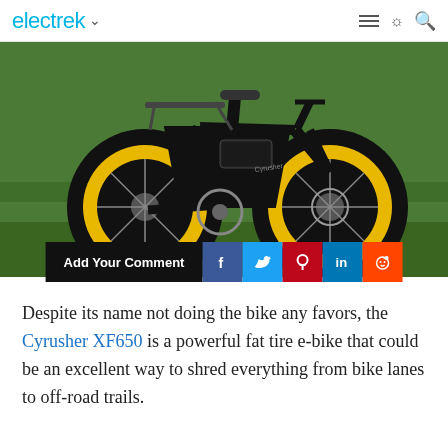electrek
[Figure (photo): Black and yellow fat tire electric bicycle (Cyrusher XF650) parked on green grass, showing large yellow-rimmed wheels, black frame with battery, and rear rack.]
Add Your Comment
Despite its name not doing the bike any favors, the Cyrusher XF650 is a powerful fat tire e-bike that could be an excellent way to shred everything from bike lanes to off-road trails.